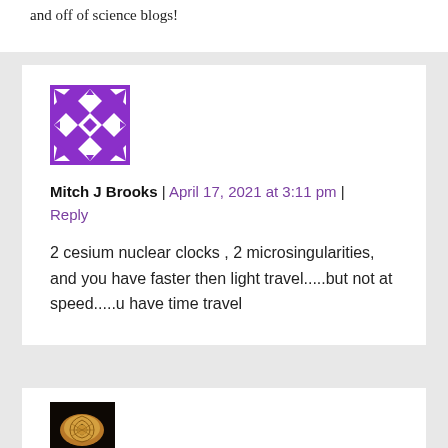and off of science blogs!
[Figure (illustration): Purple geometric avatar with diamond and star pattern for user Mitch J Brooks]
Mitch J Brooks | April 17, 2021 at 3:11 pm | Reply
2 cesium nuclear clocks , 2 microsingularities, and you have faster then light travel.....but not at speed.....u have time travel
[Figure (photo): Dark photo showing a golden/bronze colored shell or fossil object]